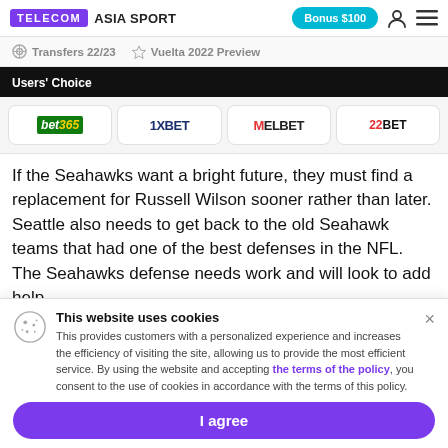TELECOM ASIA SPORT | Bonus $100
Transfers 22/23
Vuelta 2022 Preview
Users' Choice
[Figure (logo): Betting logos row: bet365, 1XBET, MELBET, 22BET]
If the Seahawks want a bright future, they must find a replacement for Russell Wilson sooner rather than later. Seattle also needs to get back to the old Seahawk teams that had one of the best defenses in the NFL. The Seahawks defense needs work and will look to add help
This website uses cookies
This provides customers with a personalized experience and increases the efficiency of visiting the site, allowing us to provide the most efficient service. By using the website and accepting the terms of the policy, you consent to the use of cookies in accordance with the terms of this policy.
I agree